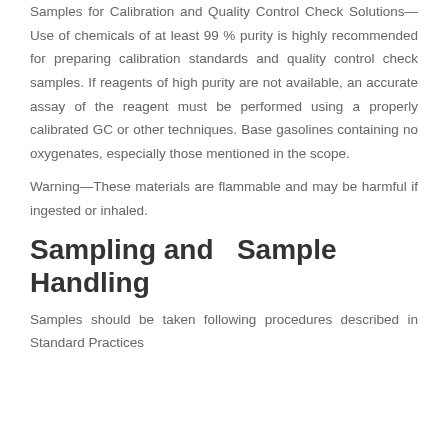Samples for Calibration and Quality Control Check Solutions—Use of chemicals of at least 99 % purity is highly recommended for preparing calibration standards and quality control check samples. If reagents of high purity are not available, an accurate assay of the reagent must be performed using a properly calibrated GC or other techniques. Base gasolines containing no oxygenates, especially those mentioned in the scope.
Warning—These materials are flammable and may be harmful if ingested or inhaled.
Sampling and Sample Handling
Samples should be taken following procedures described in Standard Practices